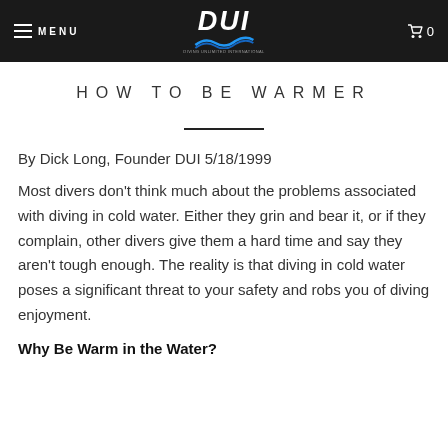MENU | DUI | 0
HOW TO BE WARMER
By Dick Long, Founder DUI 5/18/1999
Most divers don't think much about the problems associated with diving in cold water. Either they grin and bear it, or if they complain, other divers give them a hard time and say they aren't tough enough. The reality is that diving in cold water poses a significant threat to your safety and robs you of diving enjoyment.
Why Be Warm in the Water?